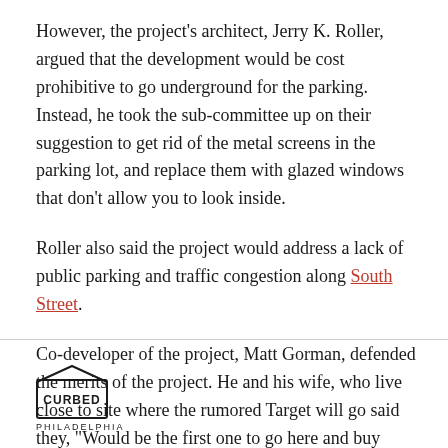However, the project's architect, Jerry K. Roller, argued that the development would be cost prohibitive to go underground for the parking. Instead, he took the sub-committee up on their suggestion to get rid of the metal screens in the parking lot, and replace them with glazed windows that don't allow you to look inside.
Roller also said the project would address a lack of public parking and traffic congestion along South Street.
Co-developer of the project, Matt Gorman, defended the merits of the project. He and his wife, who live close to site where the rumored Target will go said they, “Would be the first one to go here and buy diapers for our kids.
[Figure (logo): Curbed Philadelphia logo — house-shaped outline with 'CURBED' text inside and 'PHILADELPHIA' beneath]